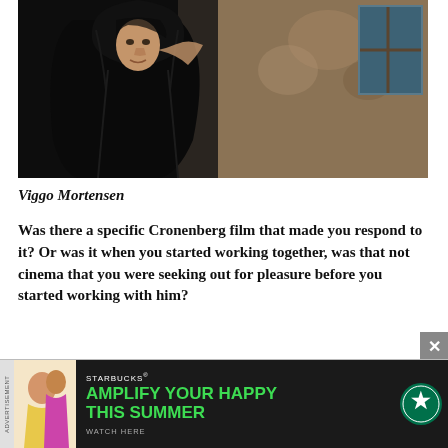[Figure (photo): A person wearing a dark black hooded cloak or robe stands in front of a weathered stone wall with a window. The lighting is dramatic with a dark background on the left.]
Viggo Mortensen
Was there a specific Cronenberg film that made you respond to it? Or was it when you started working together, was that not cinema that you were seeking out for pleasure before you started working with him?
[Figure (infographic): Starbucks advertisement: AMPLIFY YOUR HAPPY THIS SUMMER — WATCH HERE]